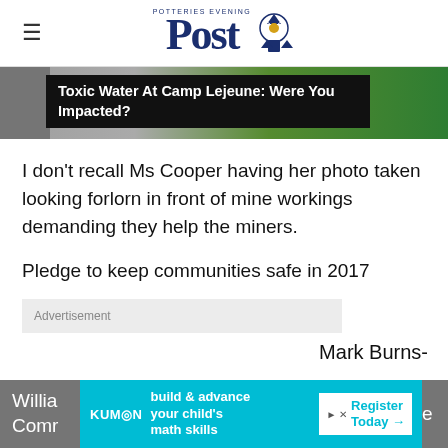Potteries Evening Post
[Figure (screenshot): Newspaper header banner with partially visible scenic background image and black overlay box with text: Toxic Water At Camp Lejeune: Were You Impacted?]
I don't recall Ms Cooper having her photo taken looking forlorn in front of mine workings demanding they help the miners.
Pledge to keep communities safe in 2017
Advertisement
Mark Burns-
Willia
Comr
[Figure (advertisement): Kumon advertisement banner: build & advance your child's math skills. Register Today.]